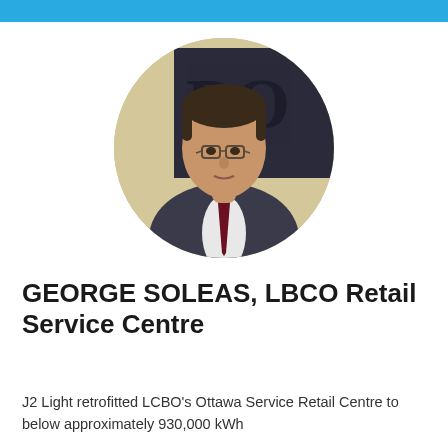[Figure (photo): Circular portrait photo of George Soleas, a middle-aged man with dark hair, wearing glasses, a dark suit and a dark tie, photographed in front of a sign showing 'LCBO' letters]
GEORGE SOLEAS, LBCO Retail Service Centre
J2 Light retrofitted LCBO's Ottawa Service Retail Centre to below approximately 930,000 kWh